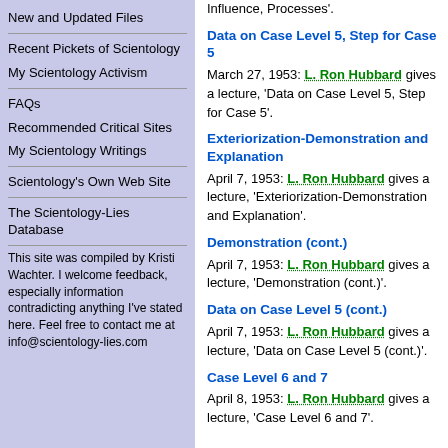New and Updated Files
Recent Pickets of Scientology
My Scientology Activism
FAQs
Recommended Critical Sites
My Scientology Writings
Scientology's Own Web Site
The Scientology-Lies Database
This site was compiled by Kristi Wachter. I welcome feedback, especially information contradicting anything I've stated here. Feel free to contact me at info@scientology-lies.com
Influence, Processes'.
Data on Case Level 5, Step for Case 5
March 27, 1953: L. Ron Hubbard gives a lecture, 'Data on Case Level 5, Step for Case 5'.
Exteriorization-Demonstration and Explanation
April 7, 1953: L. Ron Hubbard gives a lecture, 'Exteriorization-Demonstration and Explanation'.
Demonstration (cont.)
April 7, 1953: L. Ron Hubbard gives a lecture, 'Demonstration (cont.)'.
Data on Case Level 5 (cont.)
April 7, 1953: L. Ron Hubbard gives a lecture, 'Data on Case Level 5 (cont.)'.
Case Level 6 and 7
April 8, 1953: L. Ron Hubbard gives a lecture, 'Case Level 6 and 7'.